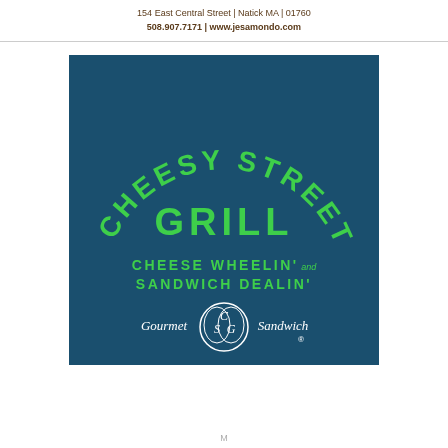154 East Central Street | Natick MA | 01760
508.907.7171 | www.jesamondo.com
[Figure (logo): Cheesy Street Grill logo on dark teal background with green text reading 'CHEESY STREET GRILL' in an arc, 'CHEESE WHEELIN' and SANDWICH DEALIN'' tagline, and 'Gourmet CSG Sandwich' with registered trademark symbol at bottom.]
M...